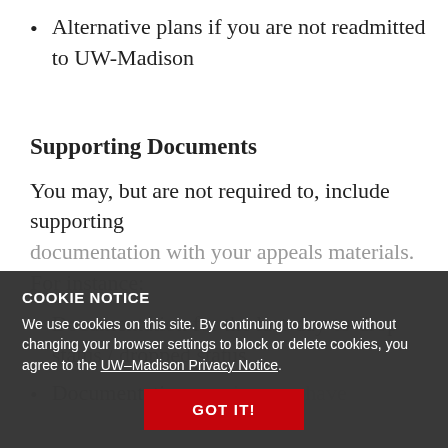Alternative plans if you are not readmitted to UW-Madison
Supporting Documents
You may, but are not required to, include supporting documentation with your appeals materials. For instance:
Documentation for the last-day-to-drop status / dropped status
Documentation proving you have...
COOKIE NOTICE
We use cookies on this site. By continuing to browse without changing your browser settings to block or delete cookies, you agree to the UW–Madison Privacy Notice.
GOT IT!